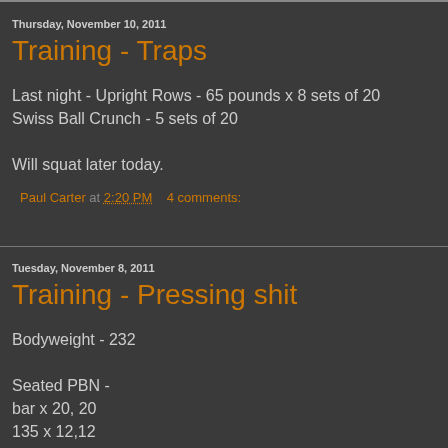Thursday, November 10, 2011
Training - Traps
Last night - Upright Rows - 65 pounds x 8 sets of 20
Swiss Ball Crunch - 5 sets of 20

Will squat later today.
Paul Carter at 2:20 PM   4 comments:
Tuesday, November 8, 2011
Training - Pressing shit
Bodyweight - 232

Seated PBN -
bar x 20, 20
135 x 12,12
155 x 5,5